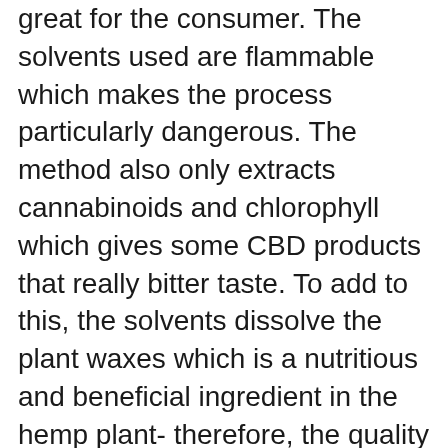great for the consumer. The solvents used are flammable which makes the process particularly dangerous. The method also only extracts cannabinoids and chlorophyll which gives some CBD products that really bitter taste. To add to this, the solvents dissolve the plant waxes which is a nutritious and beneficial ingredient in the hemp plant- therefore, the quality of the products are affected.
Not only are the products themselves of poorer quality, but the method can also be dangerous for a consumer. When the process is completed (you will learn more about the process in the next section below) the solvent leaves residue in the product which can be toxic. In a recent study- traces of petroleum residue and naphtha hydrocarbons were found in some CBD products produced by using the solvent